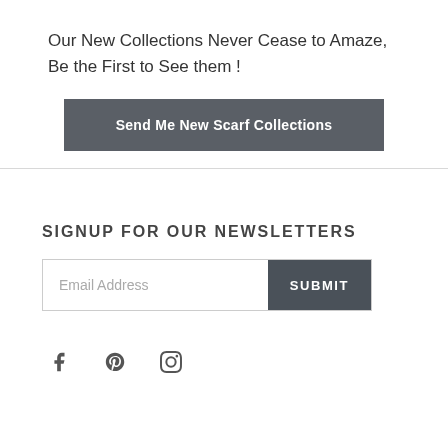Our New Collections Never Cease to Amaze, Be the First to See them !
Send Me New Scarf Collections
SIGNUP FOR OUR NEWSLETTERS
Email Address
SUBMIT
[Figure (illustration): Social media icons: Facebook, Pinterest, Instagram]